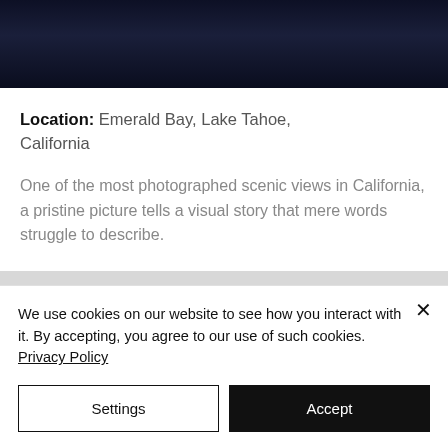[Figure (photo): Dark photograph strip at top, showing a dimly lit scene with dark blue/purple tones]
Location: Emerald Bay, Lake Tahoe, California
One of the most photographed scenic views in California, a pristine picture tells a visual story that mere words struggle to describe.
We use cookies on our website to see how you interact with it. By accepting, you agree to our use of such cookies. Privacy Policy
Settings
Accept